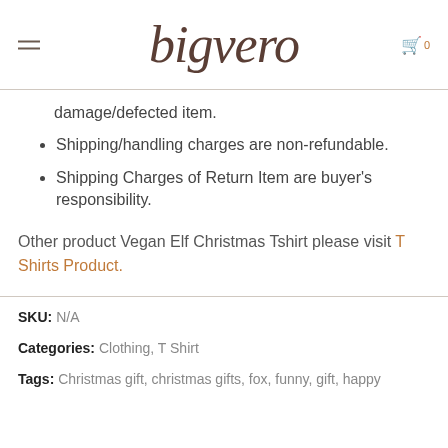bigvero
damage/defected item.
Shipping/handling charges are non-refundable.
Shipping Charges of Return Item are buyer's responsibility.
Other product Vegan Elf Christmas Tshirt please visit T Shirts Product.
SKU: N/A
Categories: Clothing, T Shirt
Tags: Christmas gift, christmas gifts, fox, funny, gift, happy